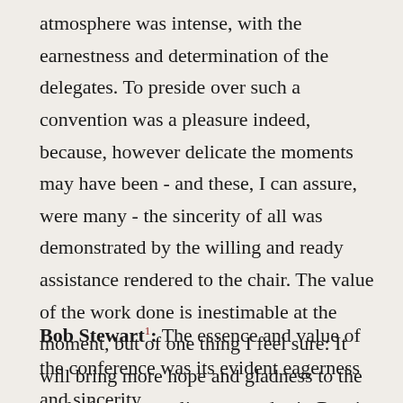atmosphere was intense, with the earnestness and determination of the delegates. To preside over such a convention was a pleasure indeed, because, however delicate the moments may have been - and these, I can assure, were many - the sincerity of all was demonstrated by the willing and ready assistance rendered to the chair. The value of the work done is inestimable at the moment, but of one thing I feel sure: It will bring more hope and gladness to the soul of our struggling comrades in Russia and elsewhere than anything else which has been done in this country ...
Bob Stewart1: The essence and value of the conference was its evident eagerness and sincerity.